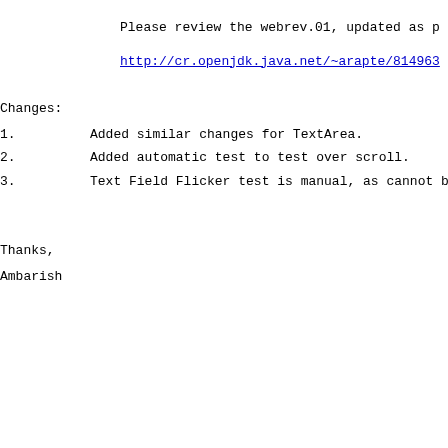Please review the webrev.01, updated as p
http://cr.openjdk.java.net/~arapte/814963
Changes:
1.        Added similar changes for TextArea.
2.        Added automatic test to test over scroll.
3.        Text Field Flicker test is manual, as cannot be
Thanks,
Ambarish